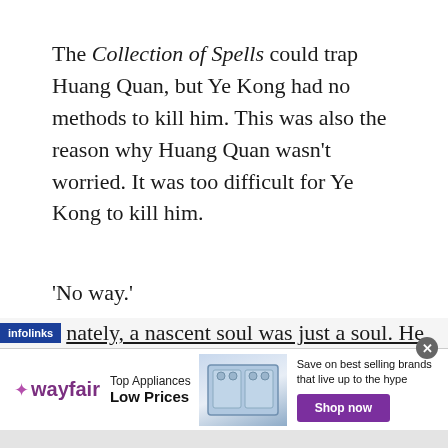The Collection of Spells could trap Huang Quan, but Ye Kong had no methods to kill him. This was also the reason why Huang Quan wasn’t worried. It was too difficult for Ye Kong to kill him.
‘No way.’
Let him stay trapped there for the time being.
nately, a nascent soul was just a soul. He
[Figure (screenshot): Wayfair advertisement banner showing logo, 'Top Appliances Low Prices' text, appliance image, and 'Shop now' button with infolinks label overlay]